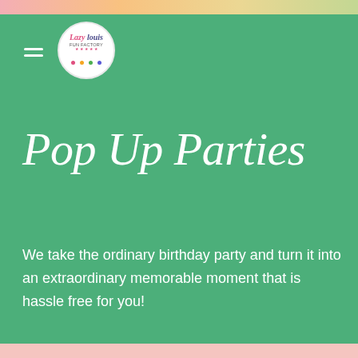[Figure (logo): Circular logo for Lazy Louis Fun Factory with colorful dots]
Pop Up Parties
We take the ordinary birthday party and turn it into an extraordinary memorable moment that is hassle free for you!